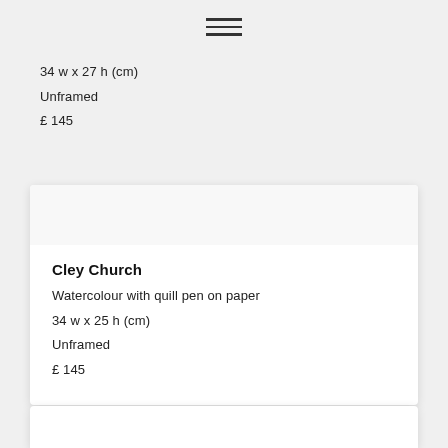[Figure (other): Hamburger menu icon (three horizontal lines) centered at top of page]
34 w x 27 h (cm)
Unframed
£ 145
[Figure (photo): Artwork image placeholder (white/light grey card image area)]
Cley Church
Watercolour with quill pen on paper
34 w x 25 h (cm)
Unframed
£ 145
[Figure (photo): Partial artwork card at bottom of page (cropped)]